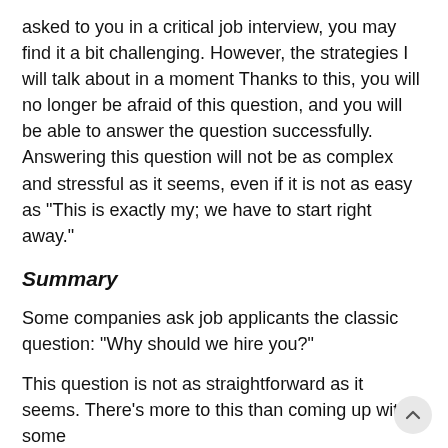asked to you in a critical job interview, you may find it a bit challenging. However, the strategies I will talk about in a moment Thanks to this, you will no longer be afraid of this question, and you will be able to answer the question successfully. Answering this question will not be as complex and stressful as it seems, even if it is not as easy as "This is exactly my; we have to start right away."
Summary
Some companies ask job applicants the classic question: "Why should we hire you?"
This question is not as straightforward as it seems. There's more to this than coming up with some